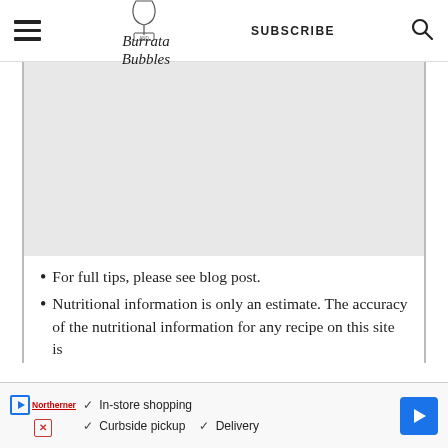Burrata and Bubbles — SUBSCRIBE
[Figure (illustration): Gray placeholder/content area box]
For full tips, please see blog post.
Nutritional information is only an estimate. The accuracy of the nutritional information for any recipe on this site is
[Figure (infographic): Advertisement banner: In-store shopping, Curbside pickup, Delivery with navigation arrow icon]